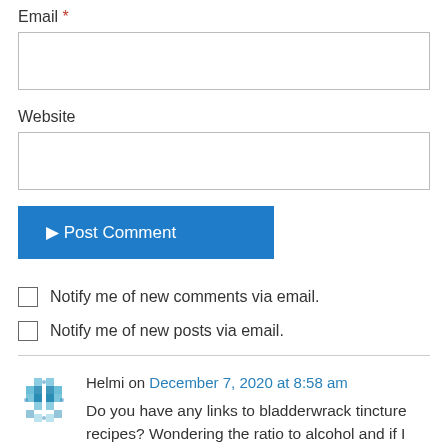Email *
Website
Post Comment
Notify me of new comments via email.
Notify me of new posts via email.
Helmi on December 7, 2020 at 8:58 am
Do you have any links to bladderwrack tincture recipes? Wondering the ratio to alcohol and if I